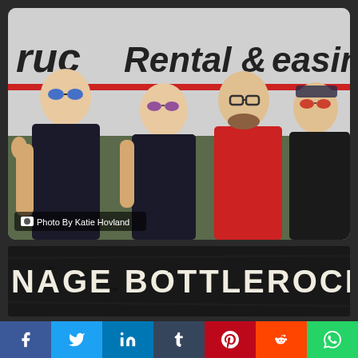[Figure (photo): Four men posing in front of a truck rental and leasing vehicle. They are making hand gestures. One wears blue sunglasses and a black t-shirt with tattoos, one wears purple sunglasses and a black sleeveless shirt, one wears glasses and a red shirt, and one wears a leather jacket with red sunglasses.]
Photo By Katie Hovland
[Figure (logo): Teenage Bottlerocket band logo text in distressed white lettering on dark background]
Teenage BottleRocket